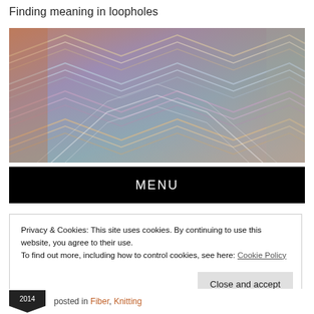Finding meaning in loopholes
[Figure (photo): Close-up photo of colorful knitted fabric with chevron/arrow pattern in orange, blue, purple, and gray tones]
MENU
Privacy & Cookies: This site uses cookies. By continuing to use this website, you agree to their use.
To find out more, including how to control cookies, see here: Cookie Policy
Close and accept
posted in Fiber, Knitting